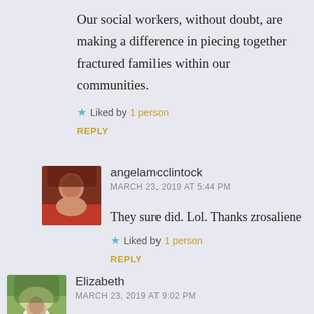Our social workers, without doubt, are making a difference in piecing together fractured families within our communities.
Liked by 1 person
REPLY
angelamcclintock
MARCH 23, 2019 AT 5:44 PM
They sure did. Lol. Thanks zrosaliene
Liked by 1 person
REPLY
Elizabeth
MARCH 23, 2019 AT 9:02 PM